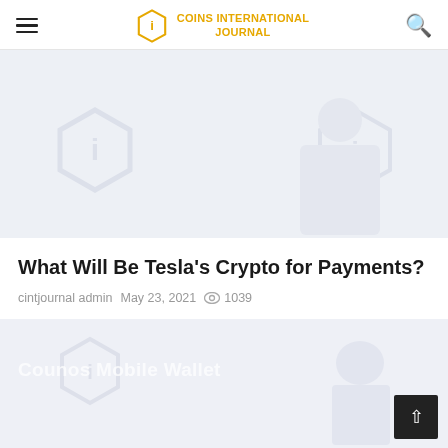Coins International Journal
[Figure (photo): Faded article thumbnail image with Coins International Journal watermark logo, showing a person in the background]
What Will Be Tesla's Crypto for Payments?
cintjournal admin  May 23, 2021  👁 1039
[Figure (photo): Partially visible second article thumbnail showing text 'Counos Mobile Wallet' with faded background imagery]